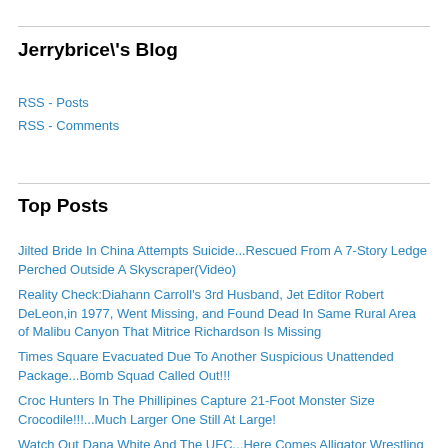Jerrybrice\'s Blog
RSS - Posts
RSS - Comments
Top Posts
Jilted Bride In China Attempts Suicide...Rescued From A 7-Story Ledge Perched Outside A Skyscraper(Video)
Reality Check:Diahann Carroll's 3rd Husband, Jet Editor Robert DeLeon,in 1977, Went Missing, and Found Dead In Same Rural Area of Malibu Canyon That Mitrice Richardson Is Missing
Times Square Evacuated Due To Another Suspicious Unattended Package...Bomb Squad Called Out!!!
Croc Hunters In The Phillipines Capture 21-Foot Monster Size Crocodile!!!...Much Larger One Still At Large!
Watch Out Dana White And The UFC...Here Comes Alligator Wrestling As a Sport!!!!